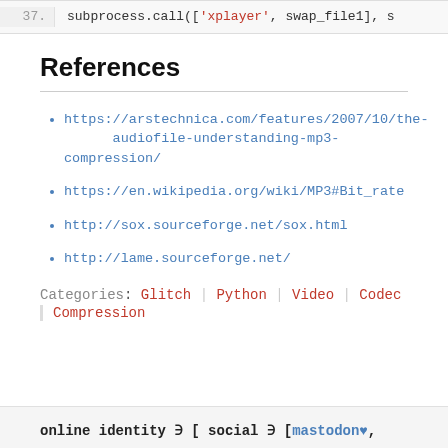37.    subprocess.call(['xplayer', swap_file1], s
References
https://arstechnica.com/features/2007/10/the-audiofile-understanding-mp3-compression/
https://en.wikipedia.org/wiki/MP3#Bit_rate
http://sox.sourceforge.net/sox.html
http://lame.sourceforge.net/
Categories: Glitch | Python | Video | Codec | Compression
online identity ∋ [ social ∋ [mastodon♥,